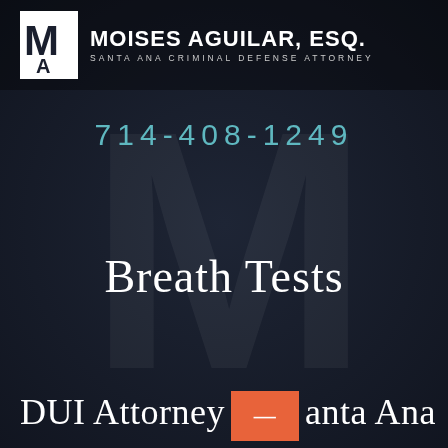[Figure (logo): Moises Aguilar Esq. law firm logo with stylized MA monogram in white, firm name and subtitle on dark background header bar]
714-408-1249
Breath Tests
DUI Attorney Santa Ana